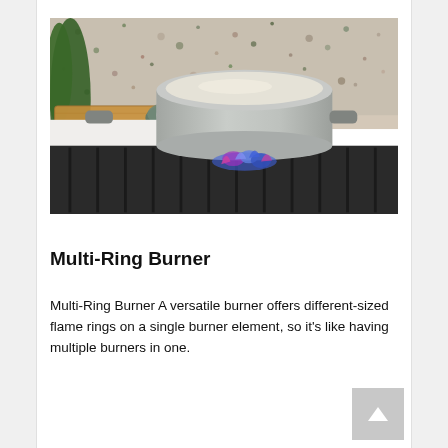[Figure (photo): A gray ceramic pot cooking on a gas burner with blue flame visible. On a dark stovetop. In the background: a wooden cutting board with yellow peppers, a bowl of tomatoes, and green herbs. Decorative tile backsplash in background.]
Multi-Ring Burner
Multi-Ring Burner A versatile burner offers different-sized flame rings on a single burner element, so it's like having multiple burners in one.